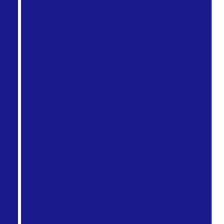| Movie | Rank | Gross |
| --- | --- | --- |
| Planet of the Apes | # 19 | $662 |
| Shrek | # 20 | $662 |
| Jurassic Park 3 | # 23 | $639 |
| Cats & Dogs | # 32 | $253 |
| Dr. Doolittle 2 | # 34 | $183 |
| Pearl Harbor | # 38 | $145 |
| Atlantis: The Lost Empire | # 44 | $104 |
| Osmosis Jones | # 46 | $93,7 |
| Spy Kids: Special Edition | # 49 | $83,2 |
| Tomb Raider | # 53 | $72,1 |
| The Mummy Returns | # 57 | $49,3 |
A.I. is now out of theaters with a final take of ju
The gain/loss represents the movie's performa
> Return to the top of page
News Link of the Day - Eisner Hopes for a Fa
According to The UK Times:
"...For Eisner, Shrek was a humiliation. Not only clear attempt to push Disney out of the animati jibes at Eisner. For example, Lord Farquaad, th about his height in several scenes. This was in dismissed Katzenberg as 'a little midget' during